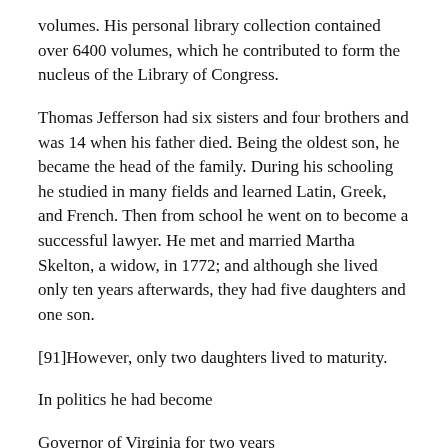volumes. His personal library collection contained over 6400 volumes, which he contributed to form the nucleus of the Library of Congress.
Thomas Jefferson had six sisters and four brothers and was 14 when his father died. Being the oldest son, he became the head of the family. During his schooling he studied in many fields and learned Latin, Greek, and French. Then from school he went on to become a successful lawyer. He met and married Martha Skelton, a widow, in 1772; and although she lived only ten years afterwards, they had five daughters and one son.
[91]However, only two daughters lived to maturity.
In politics he had become
Governor of Virginia for two years